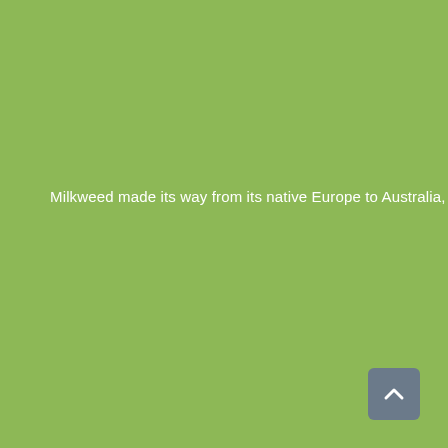Milkweed made its way from its native Europe to Australia, where
[Figure (other): Scroll-to-top button icon with upward chevron arrow on dark grey rounded rectangle background]